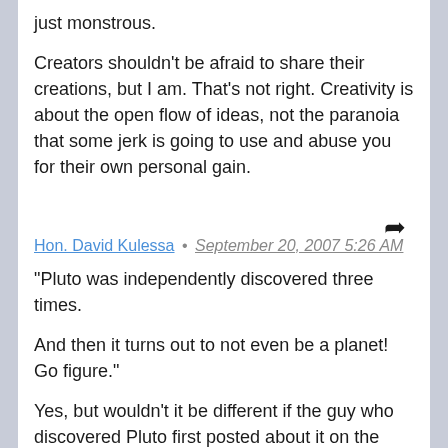just monstrous.
Creators shouldn't be afraid to share their creations, but I am. That's not right. Creativity is about the open flow of ideas, not the paranoia that some jerk is going to use and abuse you for their own personal gain.
Hon. David Kulessa • September 20, 2007 5:26 AM
"Pluto was independently discovered three times.
And then it turns out to not even be a planet! Go figure."
Yes, but wouldn't it be different if the guy who discovered Pluto first posted about it on the internet, and the second guy posted about it quite a while later?
When people are using pigeons to